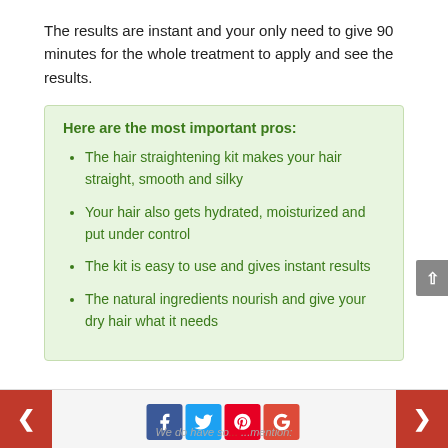The results are instant and your only need to give 90 minutes for the whole treatment to apply and see the results.
Here are the most important pros:
The hair straightening kit makes your hair straight, smooth and silky
Your hair also gets hydrated, moisturized and put under control
The kit is easy to use and gives instant results
The natural ingredients nourish and give your dry hair what it needs
We do have so... ...mention: